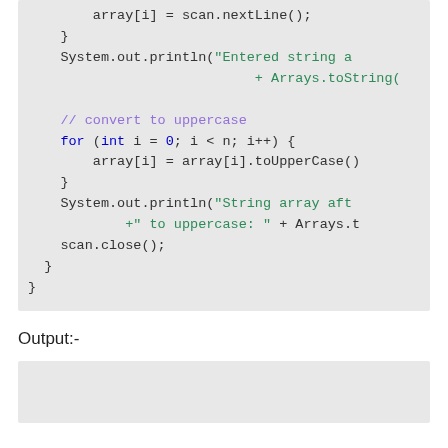[Figure (screenshot): Java code snippet showing array input loop, conversion to uppercase using toUpperCase(), and System.out.println statements with Arrays.toString(). Code is syntax-highlighted on a gray background.]
Output:-